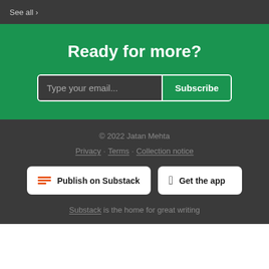See all
Ready for more?
Type your email... Subscribe
© 2022 Jatan Mehta
Privacy · Terms · Collection notice
Publish on Substack
Get the app
Substack is the home for great writing